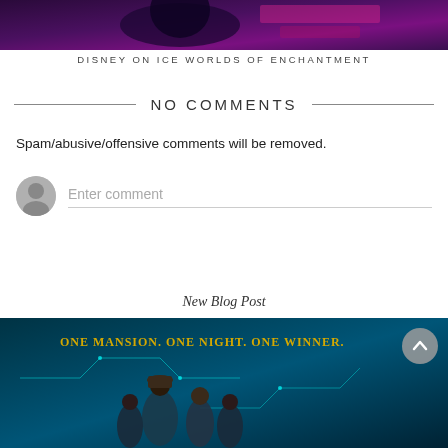[Figure (photo): Partial image at top, dark purple/blue tones, appears to be a Disney on Ice performance scene]
DISNEY ON ICE WORLDS OF ENCHANTMENT
NO COMMENTS
Spam/abusive/offensive comments will be removed.
Enter comment
New Blog Post
[Figure (photo): Movie poster with text ONE MANSION. ONE NIGHT. ONE WINNER. showing group of teenagers on a dark teal/blue background with circuit-like graphics]